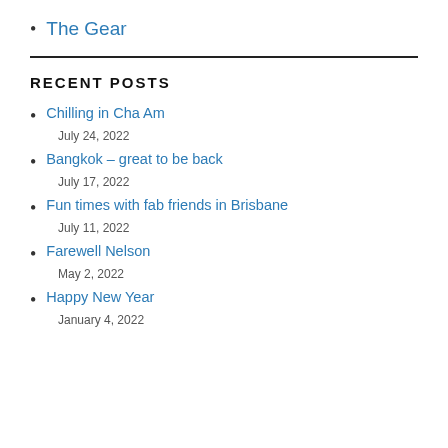The Gear
RECENT POSTS
Chilling in Cha Am
July 24, 2022
Bangkok – great to be back
July 17, 2022
Fun times with fab friends in Brisbane
July 11, 2022
Farewell Nelson
May 2, 2022
Happy New Year
January 4, 2022